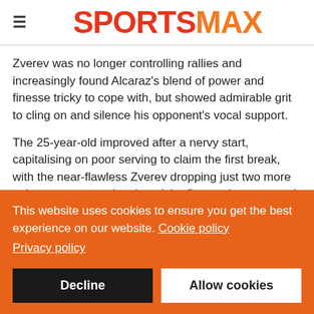SPORTSMAX
Zverev was no longer controlling rallies and increasingly found Alcaraz's blend of power and finesse tricky to cope with, but showed admirable grit to cling on and silence his opponent's vocal support.
The 25-year-old improved after a nervy start, capitalising on poor serving to claim the first break, with the near-flawless Zverev dropping just two more points on serve as he closed the first set in composed fashion.
This website uses cookies to ensure you get the best experience on our website. Cookie policy
Privacy policy
Decline
Allow cookies